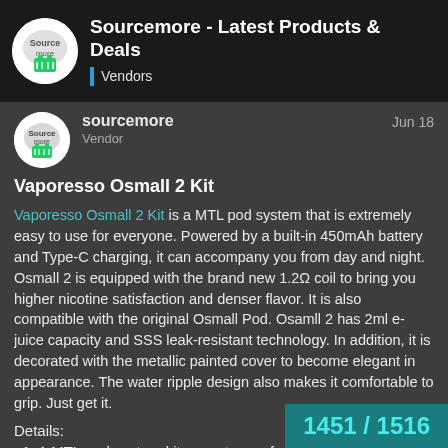Sourcemore - Latest Products & Deals | Vendors
sourcemore | Vendor | Jun 18
Vaporesso Osmall 2 Kit
Vaporesso Osmall 2 Kit is a MTL pod system that is extremely easy to use for everyone. Powered by a built-in 450mAh battery and Type-C charging, it can accompany you from day and night. Osmall 2 is equipped with the brand new 1.2Ω coil to bring you higher nicotine satisfaction and denser flavor. It is also compatible with the original Osmall Pod. Osamll 2 has 2ml e-juice capacity and SSS leak-resistant technology. In addition, it is decorated with the metallic painted cover to become elegant in appearance. The water ripple design also makes it comfortable to grip. Just get it.
Details:
1. A MTL pod system kit, easy to use for
1451 / 1516